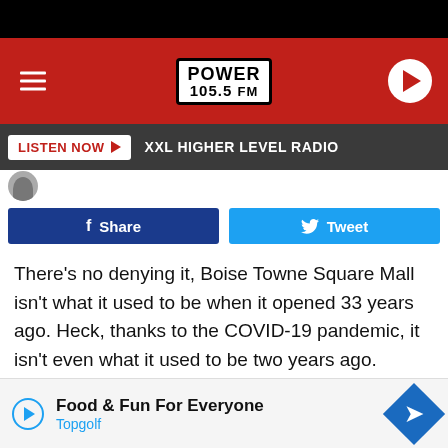[Figure (screenshot): Power 105.5 FM radio website header with red background, hamburger menu, logo, and play button]
LISTEN NOW ▶  XXL HIGHER LEVEL RADIO
[Figure (infographic): Facebook Share button and Twitter Tweet button]
There's no denying it, Boise Towne Square Mall isn't what it used to be when it opened 33 years ago. Heck, thanks to the COVID-19 pandemic, it isn't even what it used to be two years ago.
A few Fridays back, we ventured out to the mall to grab a late dinner at Old Chicago. My husband instinctively started walkin...e restaur...' He
[Figure (infographic): Advertisement overlay: Food & Fun For Everyone - Topgolf]